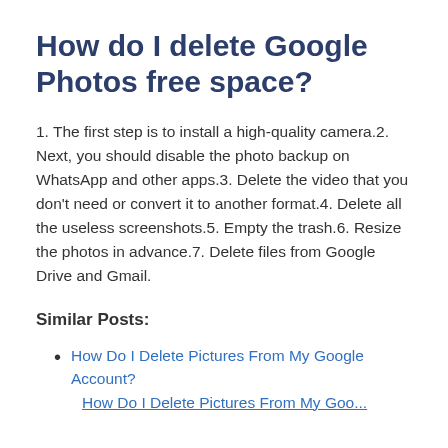How do I delete Google Photos free space?
1. The first step is to install a high-quality camera.2. Next, you should disable the photo backup on WhatsApp and other apps.3. Delete the video that you don't need or convert it to another format.4. Delete all the useless screenshots.5. Empty the trash.6. Resize the photos in advance.7. Delete files from Google Drive and Gmail.
Similar Posts:
How Do I Delete Pictures From My Google Account?
How Do I Delete Pictures From My Goo...